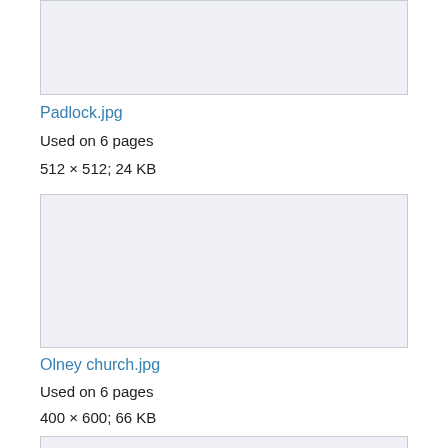[Figure (other): Placeholder image box (top, partially visible) for Padlock.jpg]
Padlock.jpg
Used on 6 pages
512 × 512; 24 KB
[Figure (other): Placeholder image box for Olney church.jpg]
Olney church.jpg
Used on 6 pages
400 × 600; 66 KB
[Figure (other): Placeholder image box (bottom, partially visible)]